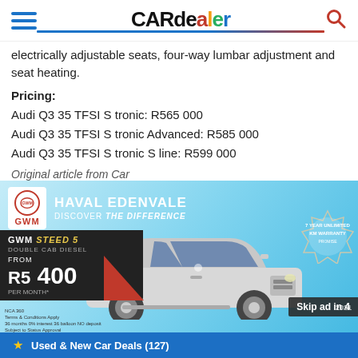CARdealer
electrically adjustable seats, four-way lumbar adjustment and seat heating.
Pricing:
Audi Q3 35 TFSI S tronic: R565 000
Audi Q3 35 TFSI S tronic Advanced: R585 000
Audi Q3 35 TFSI S tronic S line: R599 000
Original article from Car
[Figure (photo): GWM Haval Edenvale advertisement banner featuring a silver GWM Steed 5 Double Cab Diesel pickup truck with a price of R5 400 per month, 7 year unlimited km warranty badge, and a 'Skip ad in 4' overlay button.]
Used & New Car Deals (127)